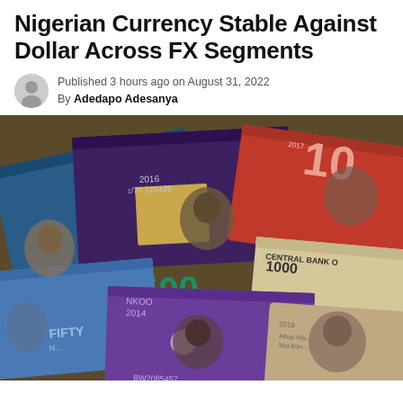Nigerian Currency Stable Against Dollar Across FX Segments
Published 3 hours ago on August 31, 2022
By Adedapo Adesanya
[Figure (photo): A spread of various Nigerian naira banknotes including 200, 500, 1000, 50, 100 denominations with portraits of Nigerian historical figures, dating from 2014-2016, with serial numbers visible.]